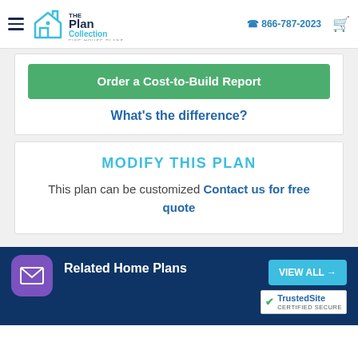The Plan Collection Fine House Plans | 866-787-2023
Order a Cost-to-Build Report
What's the difference?
MODIFY THIS PLAN
This plan can be customized Contact us for free quote
Related Home Plans
VIEW ALL →
[Figure (logo): TrustedSite Certified Secure badge]